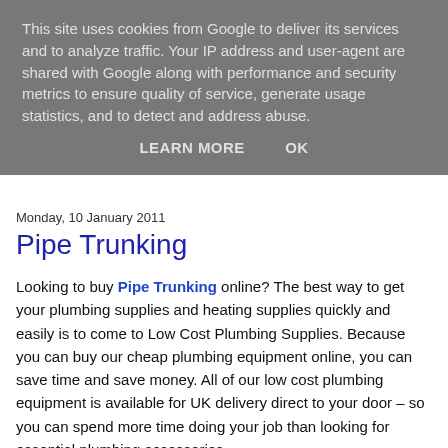This site uses cookies from Google to deliver its services and to analyze traffic. Your IP address and user-agent are shared with Google along with performance and security metrics to ensure quality of service, generate usage statistics, and to detect and address abuse.
LEARN MORE   OK
Monday, 10 January 2011
Pipe Trunking
Looking to buy Pipe Trunking online? The best way to get your plumbing supplies and heating supplies quickly and easily is to come to Low Cost Plumbing Supplies. Because you can buy our cheap plumbing equipment online, you can save time and save money. All of our low cost plumbing equipment is available for UK delivery direct to your door – so you can spend more time doing your job than looking for essential plumbing accessories.
Trunking for pipes is just one of the plumbing ranges that we have in stock. Pipe insulation and other trunking is a